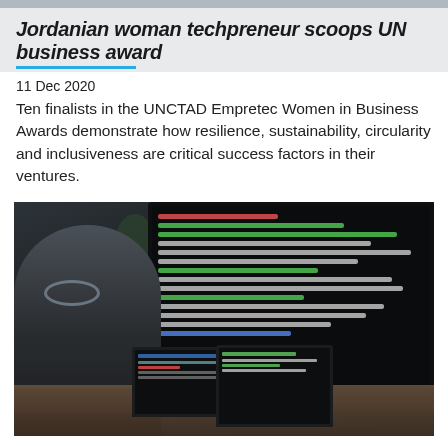Jordanian woman techpreneur scoops UN business award
11 Dec 2020
Ten finalists in the UNCTAD Empretec Women in Business Awards demonstrate how resilience, sustainability, circularity and inclusiveness are critical success factors in their ventures.
[Figure (photo): Person sitting at a desk working on laptops with a large monitor displaying code in the background, viewed from the side, desk setup with multiple screens showing programming code and data dashboards.]